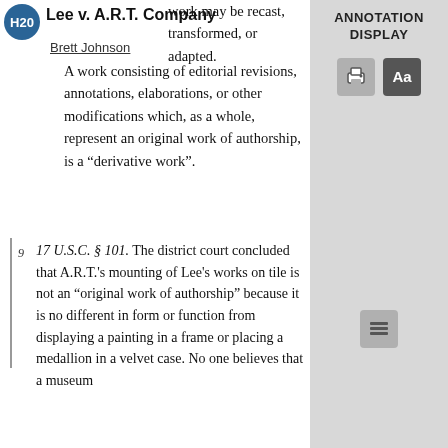Lee v. A.R.T. Company
Brett Johnson
work may be recast, transformed, or adapted. A work consisting of editorial revisions, annotations, elaborations, or other modifications which, as a whole, represent an original work of authorship, is a "derivative work".
ANNOTATION DISPLAY
9   17 U.S.C. § 101. The district court concluded that A.R.T.'s mounting of Lee's works on tile is not an "original work of authorship" because it is no different in form or function from displaying a painting in a frame or placing a medallion in a velvet case. No one believes that a museum